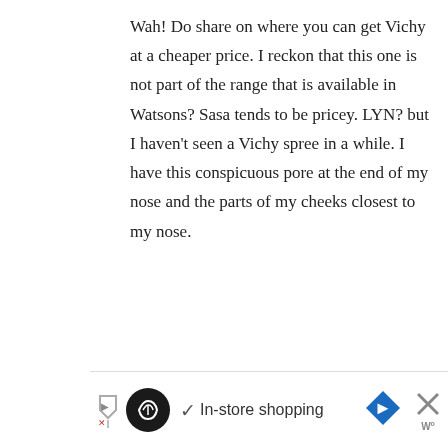Wah! Do share on where you can get Vichy at a cheaper price. I reckon that this one is not part of the range that is available in Watsons? Sasa tends to be pricey. LYN? but I haven't seen a Vichy spree in a while. I have this conspicuous pore at the end of my nose and the parts of my cheeks closest to my nose.
Reply
[Figure (photo): Avatar photo of ParisB commenter]
ParisB says
July 16, 2009 at 6:12 pm
[Figure (infographic): Advertisement bar: in-store shopping with icons]